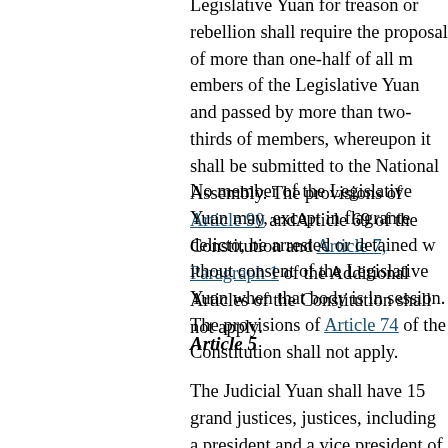Legislative Yuan for treason or rebellion shall require the proposal of more than one-half of all members of the Legislative Yuan and passed by more than two-thirds of members, whereupon it shall be submitted to the National Assembly. The provisions of Article 90 and Article 69 of the Constitution and Article 7, Paragraph 1 of the Additional Articles of the Constitution shall not apply.
No member of the Legislative Yuan may, except in flagrante delicto, be arrested or detained without consent of the Legislative Yuan when that body is in session. The provisions of Article 74 of the Constitution shall not apply.
Article 5
The Judicial Yuan shall have 15 grand justices, including a president and a vice president of the Judicial Yuan to be selected from amongst them, shall be nominated with the consent of the National Assembly, and appointed by the president of the Republic. This shall take effect from the year 2003, and the pertinent provisions of Article 79 of the Constitution shall not apply.
Each grand justice of the Judicial Yuan shall serve a term of eight years, independent of the order of appointment, and upon expiry shall not serve a consecutive term. The grand justice...